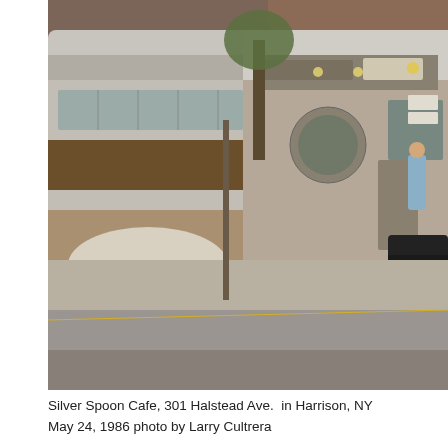[Figure (photo): Street-level photograph of the Silver Spoon Cafe diner at 301 Halstead Ave in Harrison, NY. The diner has a classic stainless steel exterior with curved roofline. A tree is visible in front, a covered object on the left sidewalk, and a dark car on the right. Taken in May 1986.]
Silver Spoon Cafe, 301 Halstead Ave.  in Harrison, NY
May 24, 1986 photo by Larry Cultrera
[Figure (photo): Close-up photograph of a tall pole-mounted diner sign reading 'DINER' in large red letters on a white rectangular sign against a pale sky. Another sign is partially visible below.]